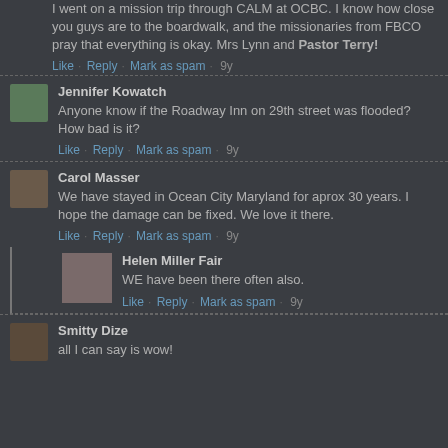I went on a mission trip through CALM at OCBC. I know how close you guys are to the boardwalk, and the missionaries from FBCO pray that everything is okay. Mrs Lynn and Pastor Terry!
Like · Reply · Mark as spam · 9y
Jennifer Kowatch
Anyone know if the Roadway Inn on 29th street was flooded? How bad is it?
Like · Reply · Mark as spam · 9y
Carol Masser
We have stayed in Ocean City Maryland for aprox 30 years. I hope the damage can be fixed. We love it there.
Like · Reply · Mark as spam · 9y
Helen Miller Fair
WE have been there often also.
Like · Reply · Mark as spam · 9y
Smitty Dize
all I can say is wow!